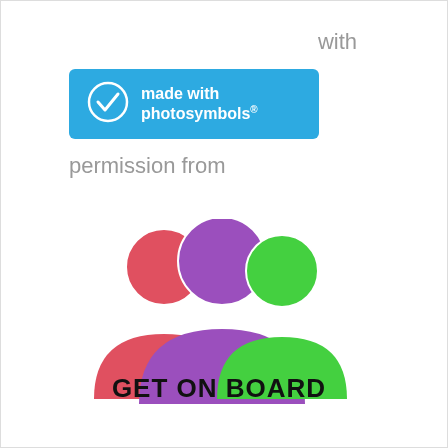with
[Figure (logo): Made with Photosymbols logo badge - blue rectangle with white checkmark circle and white text 'made with photosymbols®']
permission from
[Figure (logo): Get On Board logo - three human figure silhouettes in red, purple, and green with text 'GET ON BOARD' in bold black below]